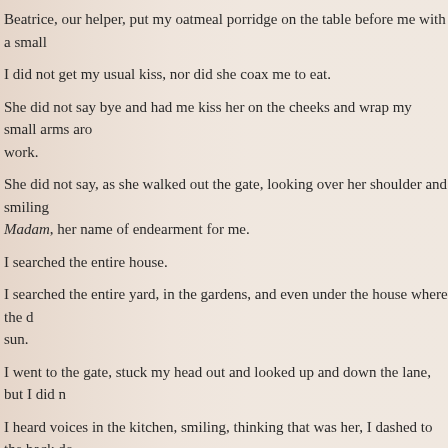Beatrice, our helper, put my oatmeal porridge on the table before me with a small
I did not get my usual kiss, nor did she coax me to eat.
She did not say bye and had me kiss her on the cheeks and wrap my small arms aro... work.
She did not say, as she walked out the gate, looking over her shoulder and smiling ... Madam, her name of endearment for me.
I searched the entire house.
I searched the entire yard, in the gardens, and even under the house where the d... sun.
I went to the gate, stuck my head out and looked up and down the lane, but I did n...
I heard voices in the kitchen, smiling, thinking that was her, I dashed to the back do... see her. I looked in the pantry, even in the fridge.
"Where is Mommy?" I asked Beatrice.
"Go play," she said. I stood looking at her.  "Go play," she repeated, snappily, then i... stove.